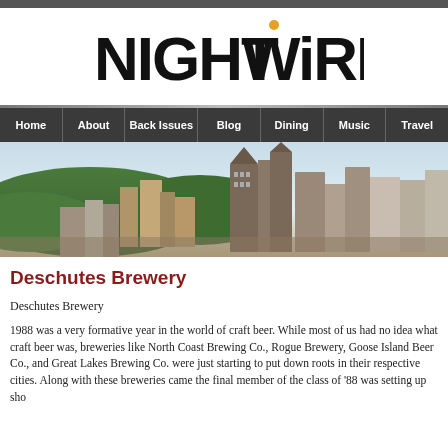NIGHT WIRE
[Figure (photo): Navigation bar with menu items: Home, About, Back Issues, Blog, Dining, Music, Travel on dark background]
[Figure (photo): Aerial cityscape photograph of Pittsburgh skyline with tall buildings and green hillside in background]
Deschutes Brewery
Deschutes Brewery
1988 was a very formative year in the world of craft beer. While most of us had no idea what craft beer was, breweries like North Coast Brewing Co., Rogue Brewery, Goose Island Beer Co., and Great Lakes Brewing Co. were just starting to put down roots in their respective cities. Along with these breweries came the final member of the class of '88 was setting up sho